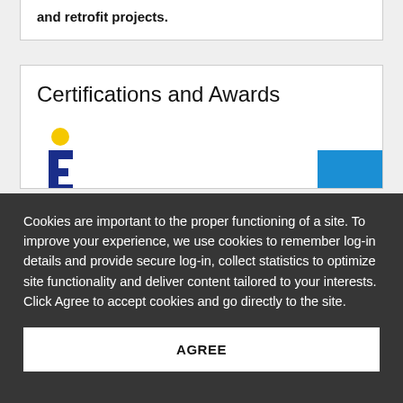and retrofit projects.
Certifications and Awards
[Figure (logo): A stylized blue figure/person logo with a yellow circle head, resembling a professional certification or organization icon (blue E-shaped body with yellow head)]
Cookies are important to the proper functioning of a site. To improve your experience, we use cookies to remember log-in details and provide secure log-in, collect statistics to optimize site functionality and deliver content tailored to your interests. Click Agree to accept cookies and go directly to the site.
AGREE